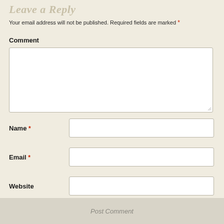Leave a Reply
Your email address will not be published. Required fields are marked *
Comment
[Figure (other): Comment textarea input field, empty, with resize handle at bottom right]
Name *
[Figure (other): Name text input field, empty]
Email *
[Figure (other): Email text input field, empty]
Website
[Figure (other): Website text input field, empty]
[Figure (other): Checkbox, unchecked]
Save my name, email, and website in this browser for the next time I comment.
Post Comment